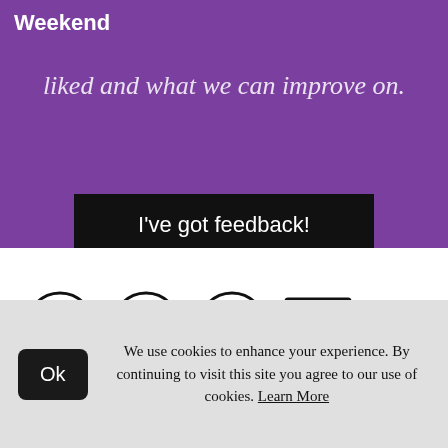Weekend
liked and what we can improve on.
I've got feedback!
[Figure (illustration): Four social sharing icons in a row: Facebook (circle with f), Twitter (circle with bird), WhatsApp (circle with phone), and Email (envelope outline)]
We use cookies to enhance your experience. By continuing to visit this site you agree to our use of cookies. Learn More